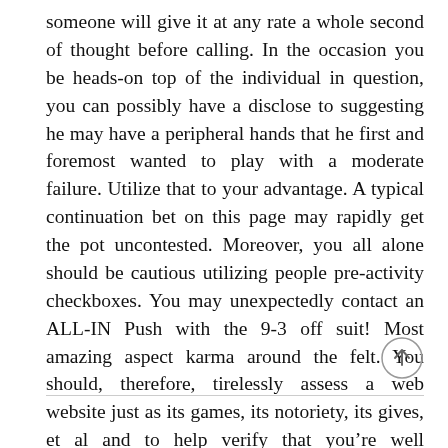someone will give it at any rate a whole second of thought before calling. In the occasion you be heads-on top of the individual in question, you can possibly have a disclose to suggesting he may have a peripheral hands that he first and foremost wanted to play with a moderate failure. Utilize that to your advantage. A typical continuation bet on this page may rapidly get the pot uncontested. Moreover, you all alone should be cautious utilizing people pre-activity checkboxes. You may unexpectedly contact an ALL-IN Push with the 9-3 off suit! Most amazing aspect karma around the felt. You should, therefore, tirelessly assess a web website just as its games, its notoriety, its gives, et al and to help verify that you’re well deserved cash will probably be secure together.
...